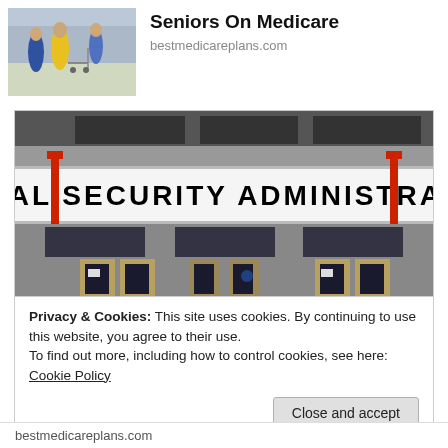[Figure (photo): Photo of elderly people shopping in a store, with shopping carts, yellow jacket visible]
Seniors On Medicare
bestmedicareplans.com
[Figure (photo): Photograph of a Social Security Administration office building exterior showing the sign 'SOCIAL SECURITY ADMINISTRATION' on the facade with entrance doors]
Privacy & Cookies: This site uses cookies. By continuing to use this website, you agree to their use.
To find out more, including how to control cookies, see here: Cookie Policy
Close and accept
bestmedicareplans.com